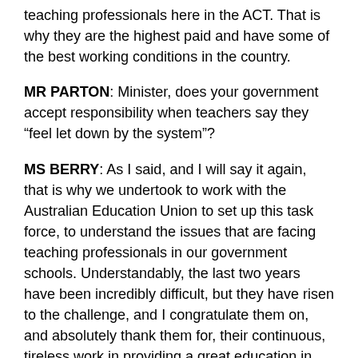teaching professionals here in the ACT. That is why they are the highest paid and have some of the best working conditions in the country.
MR PARTON: Minister, does your government accept responsibility when teachers say they “feel let down by the system”?
MS BERRY: As I said, and I will say it again, that is why we undertook to work with the Australian Education Union to set up this task force, to understand the issues that are facing teaching professionals in our government schools. Understandably, the last two years have been incredibly difficult, but they have risen to the challenge, and I congratulate them on, and absolutely thank them for, their continuous, tireless work in providing a great education in our public schools.
MR HANSON: Minister, why are teachers saying that they